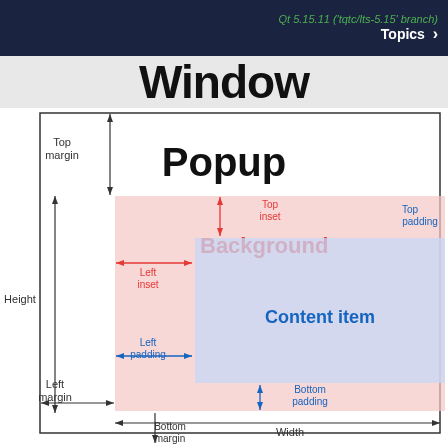Qt 5.15.11 ('tqtc/lts-5.15' branch) Topics
Window
[Figure (engineering-diagram): Diagram showing Qt Popup window layout with labeled regions: Top margin, Left margin, Height, Width, Bottom margin, Background (pink region with left inset, top inset arrows), Content item (blue region), Left padding, Bottom padding, Top padding annotations.]